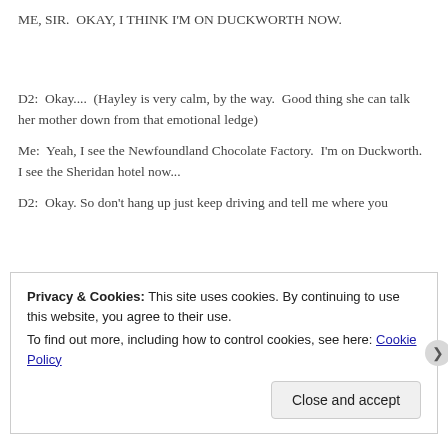ME, SIR.  OKAY, I THINK I'M ON DUCKWORTH NOW.
D2:  Okay....  (Hayley is very calm, by the way.  Good thing she can talk her mother down from that emotional ledge)
Me:  Yeah, I see the Newfoundland Chocolate Factory.  I'm on Duckworth.  I see the Sheridan hotel now...
D2:  Okay. So don't hang up just keep driving and tell me where you
Privacy & Cookies: This site uses cookies. By continuing to use this website, you agree to their use.
To find out more, including how to control cookies, see here: Cookie Policy
Close and accept